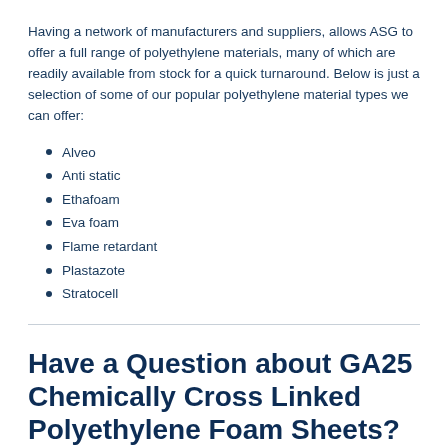Having a network of manufacturers and suppliers, allows ASG to offer a full range of polyethylene materials, many of which are readily available from stock for a quick turnaround.  Below is just a selection of some of our popular polyethylene material types we can offer:
Alveo
Anti static
Ethafoam
Eva foam
Flame retardant
Plastazote
Stratocell
Have a Question about GA25 Chemically Cross Linked Polyethylene Foam Sheets?